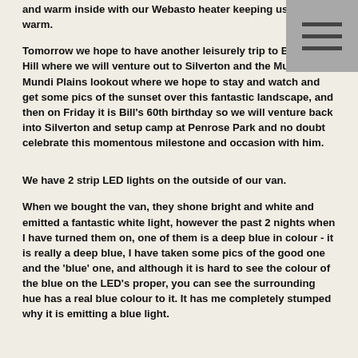and warm inside with our Webasto heater keeping us nice and warm.
[Figure (other): Hamburger menu icon — three horizontal lines on a grey square background]
Tomorrow we hope to have another leisurely trip to Broken Hill where we will venture out to Silverton and the Mundi Mundi Plains lookout where we hope to stay and watch and get some pics of the sunset over this fantastic landscape, and then on Friday it is Bill's 60th birthday so we will venture back into Silverton and setup camp at Penrose Park and no doubt celebrate this momentous milestone and occasion with him.
We have 2 strip LED lights on the outside of our van.
When we bought the van, they shone bright and white and emitted a fantastic white light, however the past 2 nights when I have turned them on, one of them is a deep blue in colour - it is really a deep blue, I have taken some pics of the good one and the 'blue' one, and although it is hard to see the colour of the blue on the LED's proper, you can see the surrounding hue has a real blue colour to it. It has me completely stumped why it is emitting a blue light.